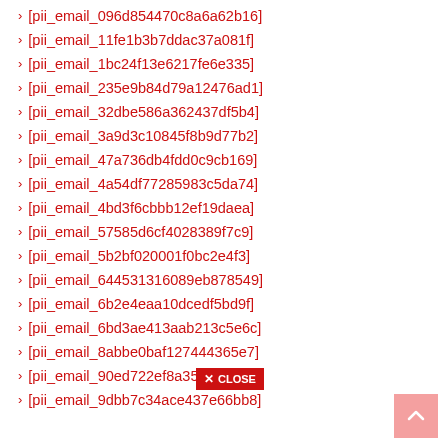[pii_email_096d854470c8a6a62b16]
[pii_email_11fe1b3b7ddac37a081f]
[pii_email_1bc24f13e6217fe6e335]
[pii_email_235e9b84d79a12476ad1]
[pii_email_32dbe586a362437df5b4]
[pii_email_3a9d3c10845f8b9d77b2]
[pii_email_47a736db4fdd0c9cb169]
[pii_email_4a54df77285983c5da74]
[pii_email_4bd3f6cbbb12ef19daea]
[pii_email_57585d6cf4028389f7c9]
[pii_email_5b2bf020001f0bc2e4f3]
[pii_email_644531316089eb878549]
[pii_email_6b2e4eaa10dcedf5bd9f]
[pii_email_6bd3ae413aab213c5e6c]
[pii_email_8abbe0baf127444365e7]
[pii_email_90ed722ef8a357c6c0aa]
[pii_email_9dbb7c34ace437e66bb8]